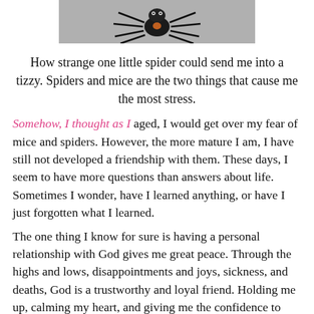[Figure (photo): Close-up photo of a spider viewed from above against a gray background]
How strange one little spider could send me into a tizzy. Spiders and mice are the two things that cause me the most stress.
Somehow, I thought as I aged, I would get over my fear of mice and spiders. However, the more mature I am, I have still not developed a friendship with them. These days, I seem to have more questions than answers about life. Sometimes I wonder, have I learned anything, or have I just forgotten what I learned.
The one thing I know for sure is having a personal relationship with God gives me great peace. Through the highs and lows, disappointments and joys, sickness, and deaths, God is a trustworthy and loyal friend. Holding me up, calming my heart, and giving me the confidence to